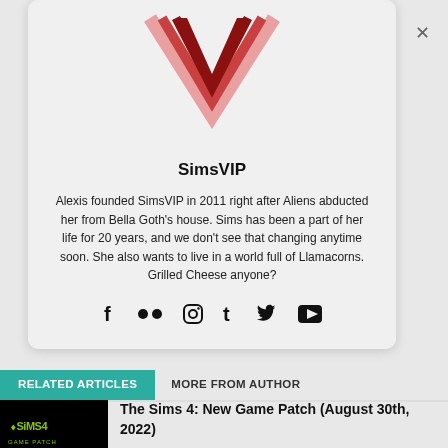[Figure (logo): SimsVIP V-shaped logo in dark red/maroon with multiple chevron stripes]
SimsVIP
Alexis founded SimsVIP in 2011 right after Aliens abducted her from Bella Goth's house. Sims has been a part of her life for 20 years, and we don't see that changing anytime soon. She also wants to live in a world full of Llamacorns. Grilled Cheese anyone?
[Figure (other): Social media icons: Facebook, Flickr, Instagram, Tumblr, Twitter, YouTube]
RELATED ARTICLES
MORE FROM AUTHOR
[Figure (screenshot): The Sims 4 logo on black background]
The Sims 4: New Game Patch (August 30th, 2022)